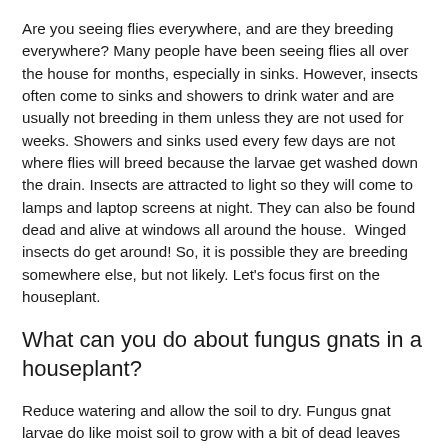Are you seeing flies everywhere, and are they breeding everywhere? Many people have been seeing flies all over the house for months, especially in sinks. However, insects often come to sinks and showers to drink water and are usually not breeding in them unless they are not used for weeks. Showers and sinks used every few days are not where flies will breed because the larvae get washed down the drain. Insects are attracted to light so they will come to lamps and laptop screens at night. They can also be found dead and alive at windows all around the house.  Winged insects do get around! So, it is possible they are breeding somewhere else, but not likely. Let's focus first on the houseplant.
What can you do about fungus gnats in a houseplant?
Reduce watering and allow the soil to dry. Fungus gnat larvae do like moist soil to grow with a bit of dead leaves and...